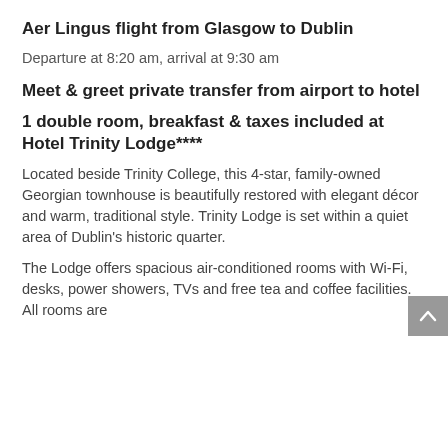Aer Lingus flight from Glasgow to Dublin
Departure at 8:20 am, arrival at 9:30 am
Meet & greet private transfer from airport to hotel
1 double room, breakfast & taxes included at Hotel Trinity Lodge****
Located beside Trinity College, this 4-star, family-owned Georgian townhouse is beautifully restored with elegant décor and warm, traditional style. Trinity Lodge is set within a quiet area of Dublin's historic quarter.
The Lodge offers spacious air-conditioned rooms with Wi-Fi, desks, power showers, TVs and free tea and coffee facilities. All rooms are